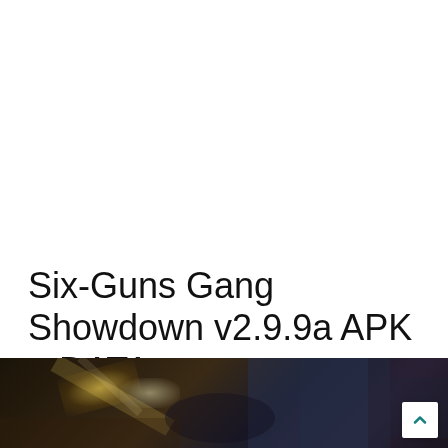Six-Guns Gang Showdown v2.9.9a APK + DATA
Best Player   Mar 24, 2022
[Figure (screenshot): Dark action game screenshot, partially visible at bottom of page, showing a scene with dim lighting, yellowish highlights and dark background elements]